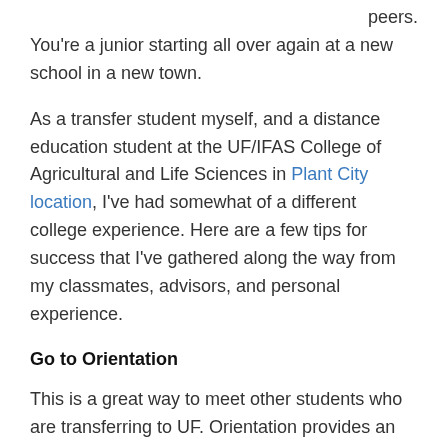peers.
You're a junior starting all over again at a new school in a new town.
As a transfer student myself, and a distance education student at the UF/IFAS College of Agricultural and Life Sciences in Plant City location, I've had somewhat of a different college experience. Here are a few tips for success that I've gathered along the way from my classmates, advisors, and personal experience.
Go to Orientation
This is a great way to meet other students who are transferring to UF. Orientation provides an opportunity to meet some of the UF/IFAS faculty